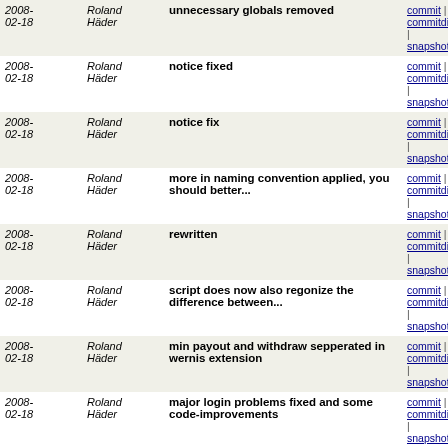| Date | Author | Message | Links |
| --- | --- | --- | --- |
| 2008-02-18 | Roland Häder | unnecessary globals removed | commit | commitdiff | tree | snapshot |
| 2008-02-18 | Roland Häder | notice fixed | commit | commitdiff | tree | snapshot |
| 2008-02-18 | Roland Häder | notice fix | commit | commitdiff | tree | snapshot |
| 2008-02-18 | Roland Häder | more in naming convention applied, you should better... | commit | commitdiff | tree | snapshot |
| 2008-02-18 | Roland Häder | rewritten | commit | commitdiff | tree | snapshot |
| 2008-02-18 | Roland Häder | script does now also regonize the difference between... | commit | commitdiff | tree | snapshot |
| 2008-02-18 | Roland Häder | min payout and withdraw sepperated in wernis extension | commit | commitdiff | tree | snapshot |
| 2008-02-18 | Roland Häder | major login problems fixed and some code-improvements | commit | commitdiff | tree | snapshot |
| 2008-02-18 | Roland Häder | admins extension in admin area rewritten | commit | commitdiff | tree | snapshot |
| 2008-02-18 | Roland Häder | minor SQL rewrites | commit | commitdiff | tree | snapshot |
| 2008-02-18 | Roland Häder | removed | commit | commitdiff | tree | snapshot |
| 2008-02-18 | Roland Häder | cookies rewritten to session | commit | commitdiff | tree | snapshot |
| 2008-02-18 | Roland Häder | strange notice fixes | commit | commitdiff | tree | snapshot |
| 2008-02-18 | Roland | Template fix | commit | commitdiff |